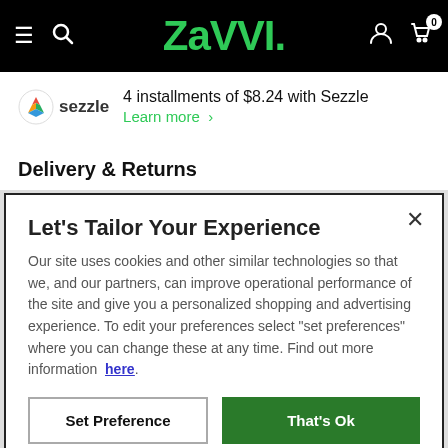Zavvi — hamburger menu, search, user account, cart (0)
4 installments of $8.24 with Sezzle — Learn more >
Delivery & Returns
Let's Tailor Your Experience
Our site uses cookies and other similar technologies so that we, and our partners, can improve operational performance of the site and give you a personalized shopping and advertising experience. To edit your preferences select "set preferences" where you can change these at any time. Find out more information here.
Set Preference | That's Ok